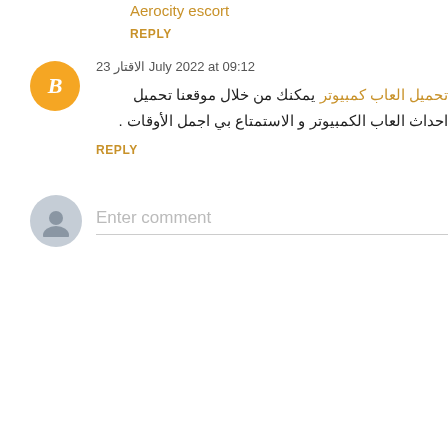Aerocity escort
REPLY
الاقتار 23 July 2022 at 09:12
تحميل العاب كمبيوتر يمكنك من خلال موقعنا تحميل احداث العاب الكمبيوتر و الاستمتاع بي اجمل الأوقات .
REPLY
Enter comment